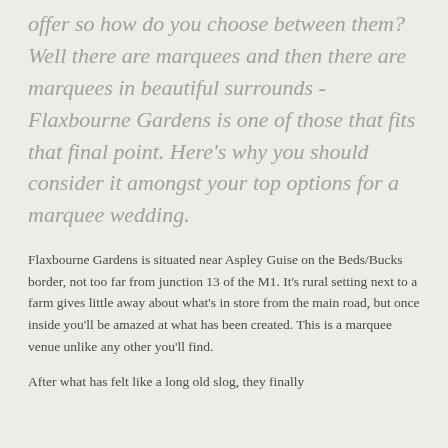offer so how do you choose between them? Well there are marquees and then there are marquees in beautiful surrounds - Flaxbourne Gardens is one of those that fits that final point. Here's why you should consider it amongst your top options for a marquee wedding.
Flaxbourne Gardens is situated near Aspley Guise on the Beds/Bucks border, not too far from junction 13 of the M1. It's rural setting next to a farm gives little away about what's in store from the main road, but once inside you'll be amazed at what has been created. This is a marquee venue unlike any other you'll find.
After what has felt like a long old slog, they finally